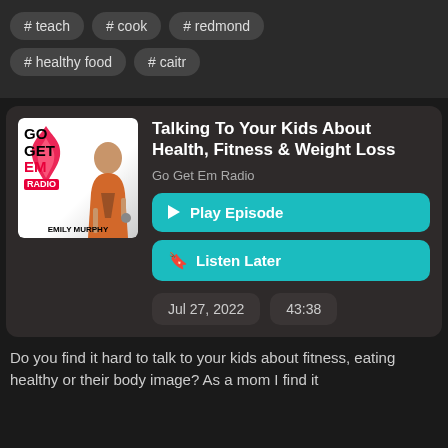# teach
# cook
# redmond
# healthy food
# caitr
Talking To Your Kids About Health, Fitness & Weight Loss
Go Get Em Radio
▶ Play Episode
🔖 Listen Later
Jul 27, 2022
43:38
Do you find it hard to talk to your kids about fitness, eating healthy or their body image?  As a mom I find it